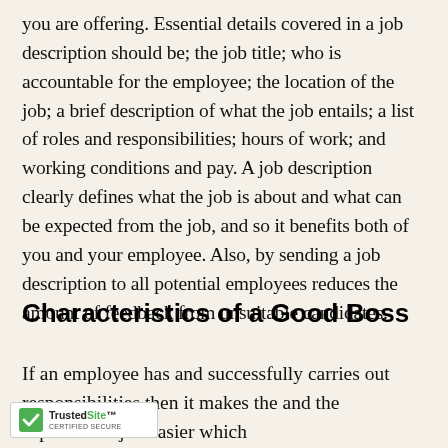you are offering. Essential details covered in a job description should be; the job title; who is accountable for the employee; the location of the job; a brief description of what the job entails; a list of roles and responsibilities; hours of work; and working conditions and pay. A job description clearly defines what the job is about and what can be expected from the job, and so it benefits both of you and your employee. Also, by sending a job description to all potential employees reduces the amount of feedback from unsuitable candidates.
Characteristics of a Good Boss
If an employee has and successfully carries out responsibilities then it makes the and the supervisor's job easier which